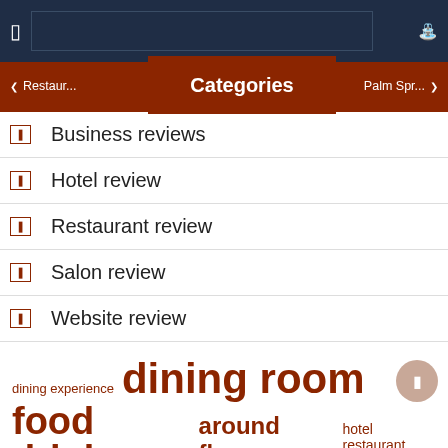Navigation bar with search
❙ Restaur... | Categories | Palm Spr... ❙
❙ Business reviews
❙ Hotel review
❙ Restaurant review
❙ Salon review
❙ Website review
dining experience  dining room  food drink  around floor  hotel restaurant